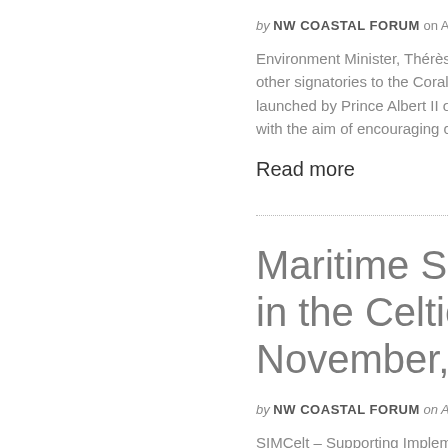by NW COASTAL FORUM on April 11,
Environment Minister, Thérèse C other signatories to the Coral Re launched by Prince Albert II of M with the aim of encouraging cou
Read more
Maritime Spatial Pl in the Celtic Seas - November, Liverpo
by NW COASTAL FORUM on August 1
SIMCelt – Supporting Implemen year project running to Decembe Affairs and Fisheries. It aims to States on the implementation of